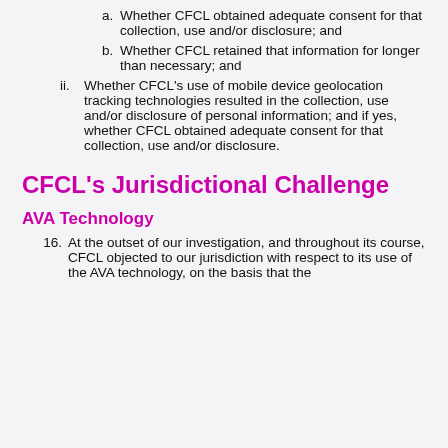a. Whether CFCL obtained adequate consent for that collection, use and/or disclosure; and
b. Whether CFCL retained that information for longer than necessary; and
ii. Whether CFCL's use of mobile device geolocation tracking technologies resulted in the collection, use and/or disclosure of personal information; and if yes, whether CFCL obtained adequate consent for that collection, use and/or disclosure.
CFCL's Jurisdictional Challenge
AVA Technology
16. At the outset of our investigation, and throughout its course, CFCL objected to our jurisdiction with respect to its use of the AVA technology, on the basis that the